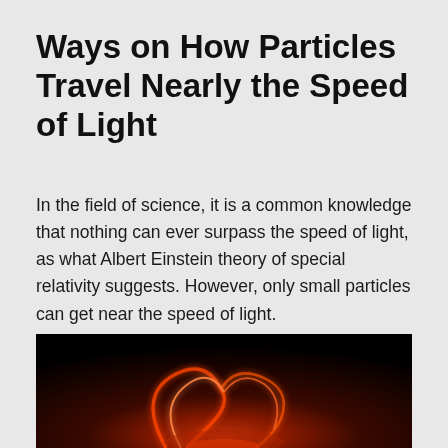Ways on How Particles Travel Nearly the Speed of Light
In the field of science, it is a common knowledge that nothing can ever surpass the speed of light, as what Albert Einstein theory of special relativity suggests. However, only small particles can get near the speed of light.
[Figure (photo): Dark image showing glowing orange-red solar flare or plasma loops against a black background, resembling coronal loops on the sun's surface.]